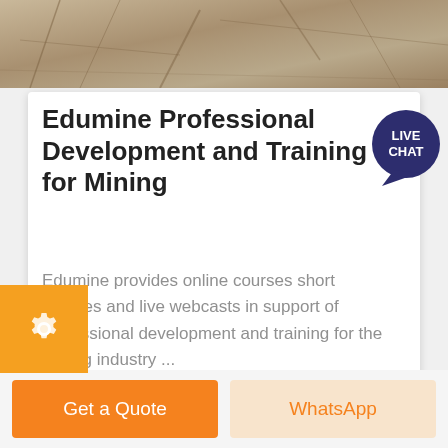[Figure (photo): Top banner photo showing a cracked rocky/stone surface, grey-brown tones, mining or geological context.]
Edumine Professional Development and Training for Mining
Edumine provides online courses short courses and live webcasts in support of professional development and training for the mining industry ...
Get a Quote
WhatsApp